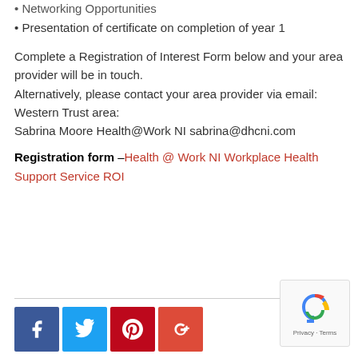• Networking Opportunities
• Presentation of certificate on completion of year 1
Complete a Registration of Interest Form below and your area provider will be in touch.
Alternatively, please contact your area provider via email:
Western Trust area:
Sabrina Moore Health@Work NI sabrina@dhcni.com
Registration form –Health @ Work NI Workplace Health Support Service ROI
[Figure (infographic): Social media icon buttons for Facebook (blue), Twitter (light blue), Pinterest (red), and Google+ (orange-red)]
[Figure (other): reCAPTCHA Privacy - Terms badge]